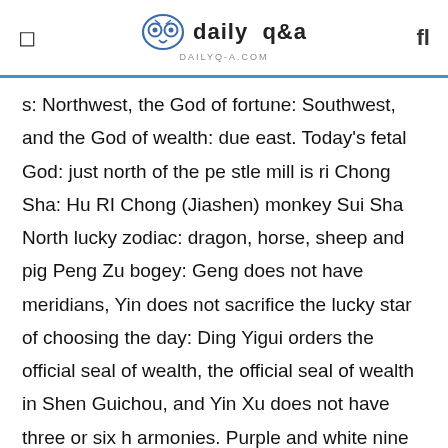daily q&a | DAILYQ-A.COM
s: Northwest, the God of fortune: Southwest, and the God of wealth: due east. Today's fetal God: just north of the pestle mill is ri Chong Sha: Hu RI Chong (Jiashen) monkey Sui Sha North lucky zodiac: dragon, horse, sheep and pig Peng Zu bogey: Geng does not have meridians, Yin does not sacrifice the lucky star of choosing the day: Ding Yigui orders the official seal of wealth, the official seal of wealth in Shen Guichou, and Yin Xu does not have three or six harmonies. Purple and white nine stars: eight white
Zodiac auspicious day query opening October 14 lunar August 28 auspicious? Today's appropriate: capture netting for burial, remove clothes, remove coffins, break ground f